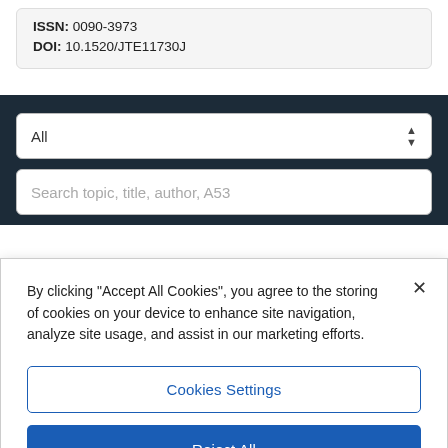ISSN: 0090-3973
DOI: 10.1520/JTE11730J
All
Search topic, title, author, A53
By clicking "Accept All Cookies", you agree to the storing of cookies on your device to enhance site navigation, analyze site usage, and assist in our marketing efforts.
Cookies Settings
Reject All